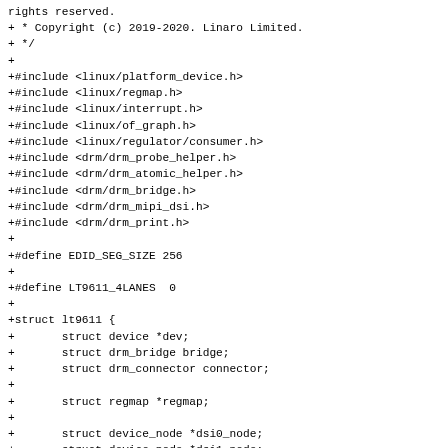rights reserved.
+ * Copyright (c) 2019-2020. Linaro Limited.
+ */
+
+#include <linux/platform_device.h>
+#include <linux/regmap.h>
+#include <linux/interrupt.h>
+#include <linux/of_graph.h>
+#include <linux/regulator/consumer.h>
+#include <drm/drm_probe_helper.h>
+#include <drm/drm_atomic_helper.h>
+#include <drm/drm_bridge.h>
+#include <drm/drm_mipi_dsi.h>
+#include <drm/drm_print.h>
+
+#define EDID_SEG_SIZE 256
+
+#define LT9611_4LANES  0
+
+struct lt9611 {
+       struct device *dev;
+       struct drm_bridge bridge;
+       struct drm_connector connector;
+
+       struct regmap *regmap;
+
+       struct device_node *dsi0_node;
+       struct device_node *dsi1_node;
+       struct mipi_dsi_device *dsi0;
+       struct mipi_dsi_device *dsi1;